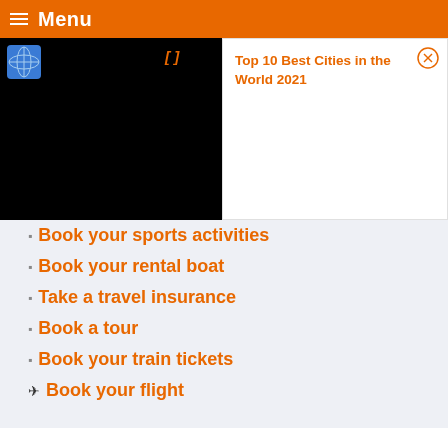Menu
[Figure (screenshot): Video player panel with globe icon thumbnail, bracket symbol, on black background]
Top 10 Best Cities in the World 2021
Book your sports activities
Book your rental boat
Take a travel insurance
Book a tour
Book your train tickets
Book your flight